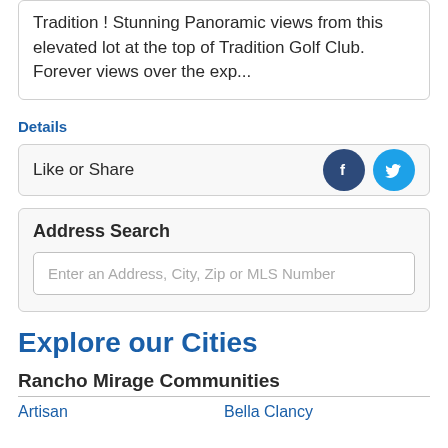Tradition ! Stunning Panoramic views from this elevated lot at the top of Tradition Golf Club. Forever views over the exp...
Details
Like or Share
[Figure (infographic): Social media share buttons: Facebook (dark blue circle with f logo) and Twitter (light blue circle with bird logo)]
Address Search
Enter an Address, City, Zip or MLS Number
Explore our Cities
Rancho Mirage Communities
Artisan
Bella Clancy